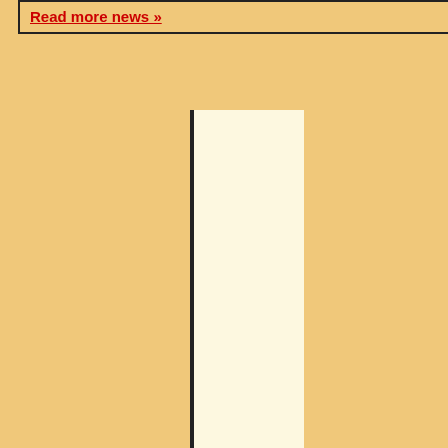Read more news »
djy
RC Moderator
This time from Rolling Stone.

Each to his own I suppose, but I find in at 43.
Post 2 made on Monday September 18, 2
GregoriusM
RC Consultant
DSM at only 43? Sacrilege!!!
When ignorance is bliss, 'tis folly to be wise
Post 3 made on Tuesday September 19,